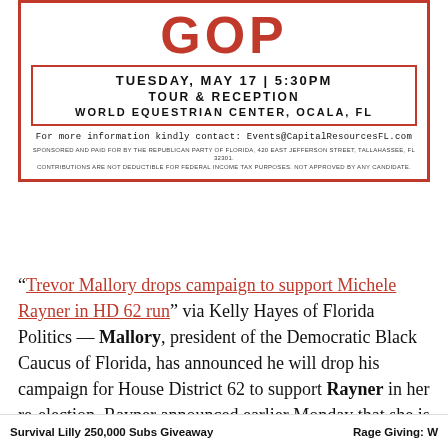[Figure (infographic): Republican Party of Florida event flyer with red logo, red border box showing event details: Tuesday, May 17 | 5:30PM, Tour & Reception, World Equestrian Center, Ocala, FL. Contact info and disclaimer text.]
“Trevor Mallory drops campaign to support Michele Rayner in HD 62 run” via Kelly Hayes of Florida Politics — Mallory, president of the Democratic Black Caucus of Florida, has announced he will drop his campaign for House District 62 to support Rayner in her re-election. Rayner announced earlier Monday that she is stopping her congressional campaign to seek re-election in the state House. Mallory entered the state House race in October 2021, following Rayner’s jump into the race for Florida 13th Congressional District, but now Mallo
Survival Lilly 250,000 Subs Giveaway    Rage Giving: W